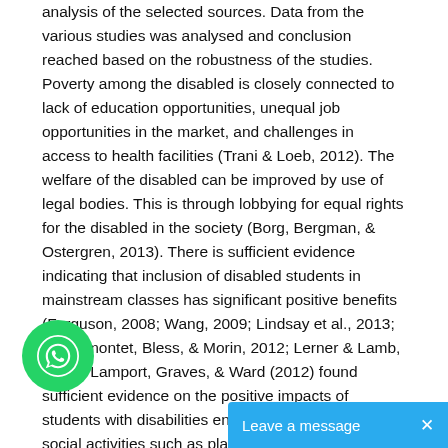analysis of the selected sources. Data from the various studies was analysed and conclusion reached based on the robustness of the studies. Poverty among the disabled is closely connected to lack of education opportunities, unequal job opportunities in the market, and challenges in access to health facilities (Trani & Loeb, 2012). The welfare of the disabled can be improved by use of legal bodies. This is through lobbying for equal rights for the disabled in the society (Borg, Bergman, & Ostergren, 2013). There is sufficient evidence indicating that inclusion of disabled students in mainstream classes has significant positive benefits (Ferguson, 2008; Wang, 2009; Lindsay et al., 2013; Dessemontet, Bless, & Morin, 2012; Lerner & Lamb, 2015). Lamport, Graves, & Ward (2012) found sufficient evidence on the positive impacts of students with disabilities engaging in interactive social activities such as playing. Sufficient evidence indicates that the concept of social inclusion and capital are closely interlinked (Blomgren, 2013). Poverty and disability are also clo...
[Figure (other): WhatsApp chat widget: green circular WhatsApp icon button and a blue 'Leave a message' chat bar]